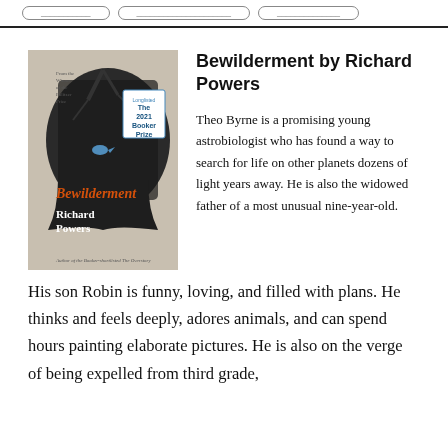tab tab tab
[Figure (photo): Book cover of 'Bewilderment' by Richard Powers, showing a silhouette of a head filled with trees and birds, with orange text title and a Booker Prize badge.]
Bewilderment by Richard Powers
Theo Byrne is a promising young astrobiologist who has found a way to search for life on other planets dozens of light years away. He is also the widowed father of a most unusual nine-year-old. His son Robin is funny, loving, and filled with plans. He thinks and feels deeply, adores animals, and can spend hours painting elaborate pictures. He is also on the verge of being expelled from third grade,